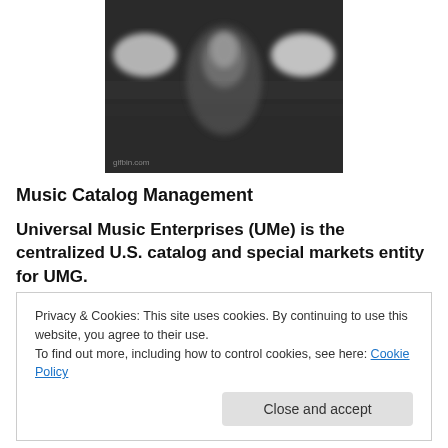[Figure (photo): Blurry black and white photo of a person in motion, with watermark 'gifbin.com' at bottom left]
Music Catalog Management
Universal Music Enterprises (UMe) is the centralized U.S. catalog and special markets entity for UMG.
Privacy & Cookies: This site uses cookies. By continuing to use this website, you agree to their use.
To find out more, including how to control cookies, see here: Cookie Policy
[Close and accept]
opportunities in new technologies. UMe is comprised